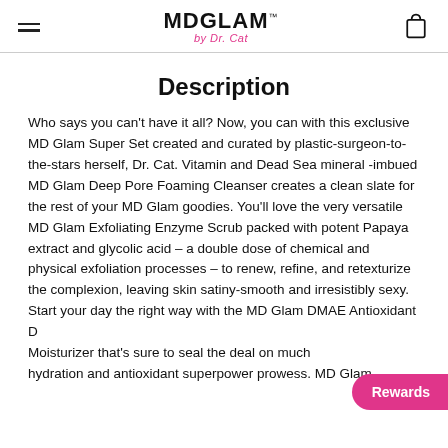MDGLAM by Dr. Cat
Description
Who says you can't have it all? Now, you can with this exclusive MD Glam Super Set created and curated by plastic-surgeon-to-the-stars herself, Dr. Cat. Vitamin and Dead Sea mineral -imbued MD Glam Deep Pore Foaming Cleanser creates a clean slate for the rest of your MD Glam goodies. You'll love the very versatile MD Glam Exfoliating Enzyme Scrub packed with potent Papaya extract and glycolic acid – a double dose of chemical and physical exfoliation processes – to renew, refine, and retexturize the complexion, leaving skin satiny-smooth and irresistibly sexy. Start your day the right way with the MD Glam DMAE Antioxidant D Moisturizer that's sure to seal the deal on much hydration and antioxidant superpower prowess. MD Glam